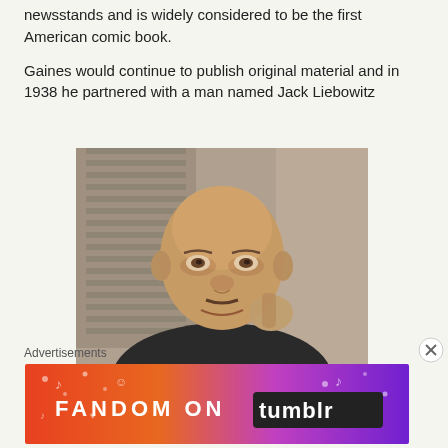newsstands and is widely considered to be the first American comic book.
Gaines would continue to publish original material and in 1938 he partnered with a man named Jack Liebowitz
[Figure (photo): Sepia-toned black and white photograph of a middle-aged bald man in a suit, smiling slightly, with his hand raised near his face. Background shows venetian blinds and curtains.]
Advertisements
[Figure (illustration): Fandom on Tumblr advertisement banner with gradient background from orange/red on left to purple on right, decorated with music notes, hearts and other icons. Text reads FANDOM ON tumblr in large letters.]